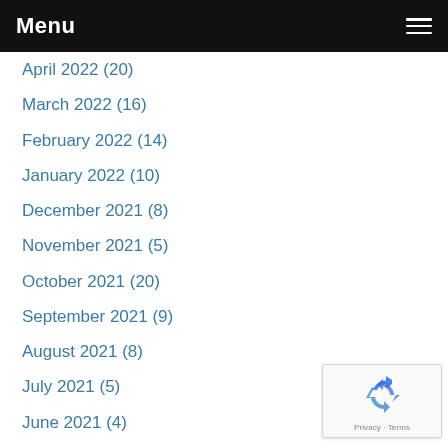Menu
April 2022 (20)
March 2022 (16)
February 2022 (14)
January 2022 (10)
December 2021 (8)
November 2021 (5)
October 2021 (20)
September 2021 (9)
August 2021 (8)
July 2021 (5)
June 2021 (4)
May 2021 (1)
April 2021 (46)
March 2021 (51)
[Figure (logo): reCAPTCHA badge with recycling-arrows logo and Privacy · Terms text]